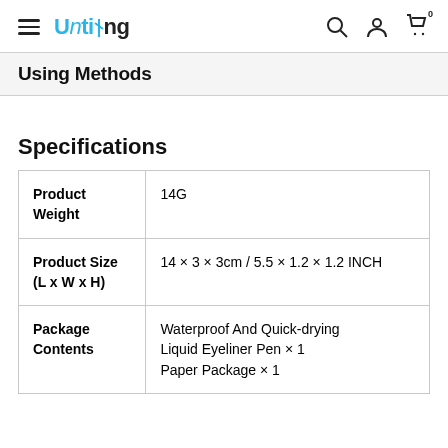Untiing
Using Methods
Specifications
|  |  |
| --- | --- |
| Product Weight | 14G |
| Product Size (L x W x H) | 14 × 3 × 3cm / 5.5 × 1.2 × 1.2 INCH |
| Package Contents | Waterproof And Quick-drying Liquid Eyeliner Pen × 1
Paper Package × 1 |